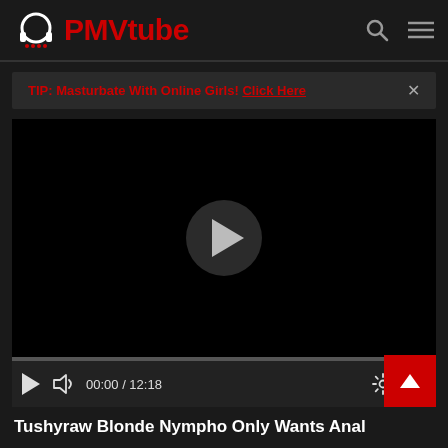PMVtube
TIP: Masturbate With Online Girls! Click Here
[Figure (screenshot): Video player showing a black screen with a circular play button in the center, a progress bar showing 00:00 / 12:18, and playback controls including play, volume, settings, and fullscreen icons.]
Tushyraw Blonde Nympho Only Wants Anal